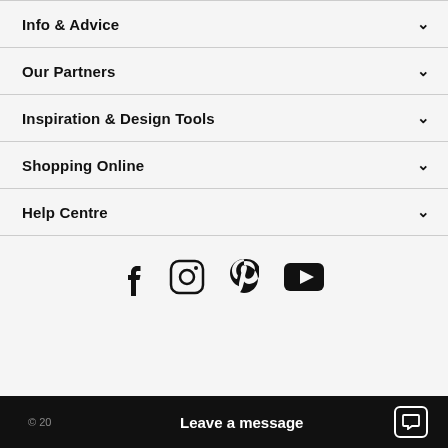Info & Advice
Our Partners
Inspiration & Design Tools
Shopping Online
Help Centre
[Figure (infographic): Social media icons: Facebook, Instagram, Pinterest, YouTube]
© 20  Leave a message